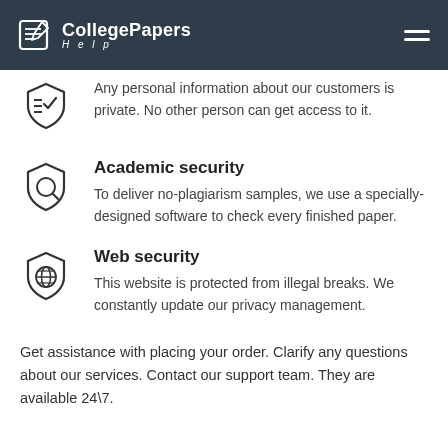CollegePapers Help
Any personal information about our customers is private. No other person can get access to it.
Academic security
To deliver no-plagiarism samples, we use a specially-designed software to check every finished paper.
Web security
This website is protected from illegal breaks. We constantly update our privacy management.
Get assistance with placing your order. Clarify any questions about our services. Contact our support team. They are available 24\7.